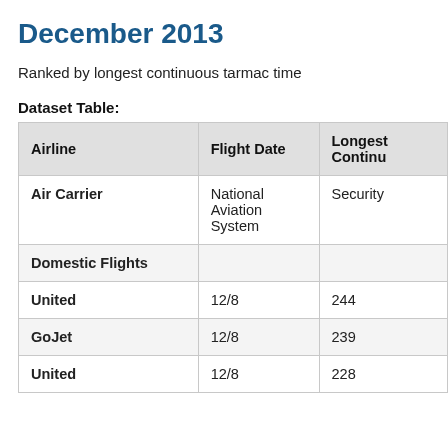December 2013
Ranked by longest continuous tarmac time
Dataset Table:
| Airline | Flight Date | Longest Continuous... |
| --- | --- | --- |
| Air Carrier | National Aviation System | Security |
| Domestic Flights |  |  |
| United | 12/8 | 244 |
| GoJet | 12/8 | 239 |
| United | 12/8 | 228 |